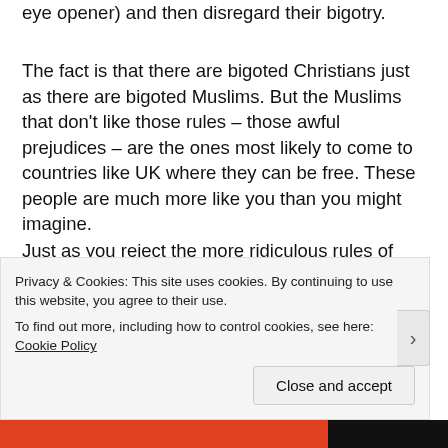eye opener) and then disregard their bigotry.
The fact is that there are bigoted Christians just as there are bigoted Muslims. But the Muslims that don't like those rules – those awful prejudices – are the ones most likely to come to countries like UK where they can be free. These people are much more like you than you might imagine.
Just as you reject the more ridiculous rules of both Islam AND Christianity (you know – the bits about keeping slaves and stoning raped women to death), so do they. That's why they moved.
And those Muslims have something that can be a great
Privacy & Cookies: This site uses cookies. By continuing to use this website, you agree to their use.
To find out more, including how to control cookies, see here: Cookie Policy
Close and accept